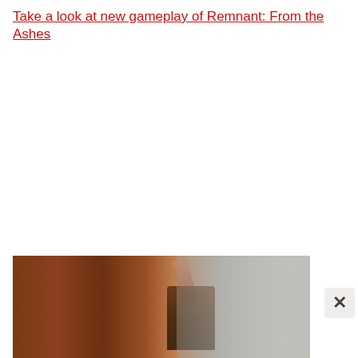Take a look at new gameplay of Remnant: From the Ashes
[Figure (photo): Screenshot or promotional image from the game Remnant: From the Ashes, showing a dark, post-apocalyptic scene. The left portion shows warm brown/orange tones suggesting fire or ruins, and the right portion shows a grey misty environment. A character figure is visible in the middle-right area.]